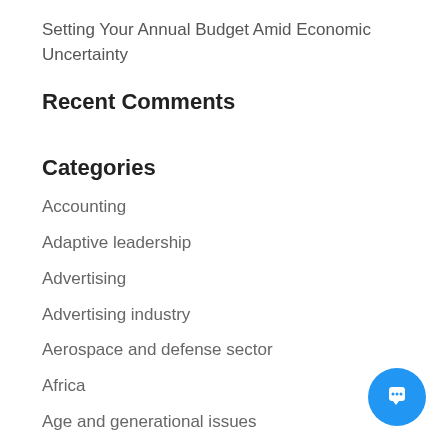Setting Your Annual Budget Amid Economic Uncertainty
Recent Comments
Categories
Accounting
Adaptive leadership
Advertising
Advertising industry
Aerospace and defense sector
Africa
Age and generational issues
Agile project management
Agriculture sector